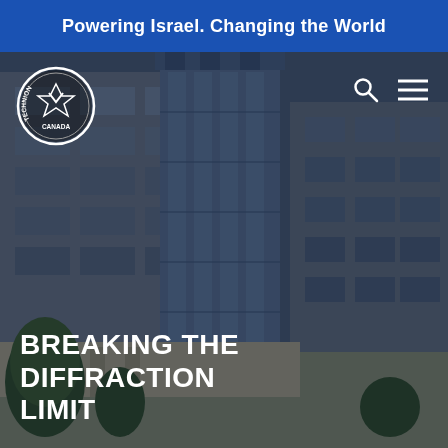Powering Israel. Changing the World
[Figure (photo): Exterior photograph of a modern multi-story university building with glass and stone facade, trees in foreground, overlaid with a dark tint. Technion Canada logo in upper left, search and menu icons in upper right.]
BREAKING THE DIFFRACTION LIMIT